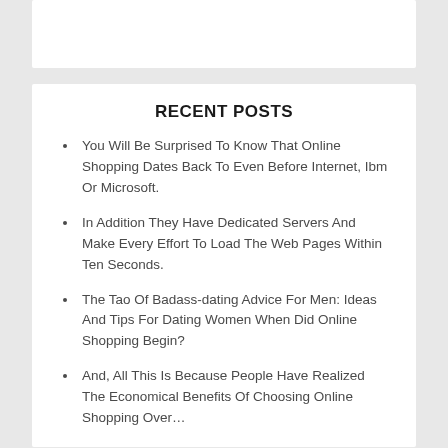RECENT POSTS
You Will Be Surprised To Know That Online Shopping Dates Back To Even Before Internet, Ibm Or Microsoft.
In Addition They Have Dedicated Servers And Make Every Effort To Load The Web Pages Within Ten Seconds.
The Tao Of Badass-dating Advice For Men: Ideas And Tips For Dating Women When Did Online Shopping Begin?
And, All This Is Because People Have Realized The Economical Benefits Of Choosing Online Shopping Over…